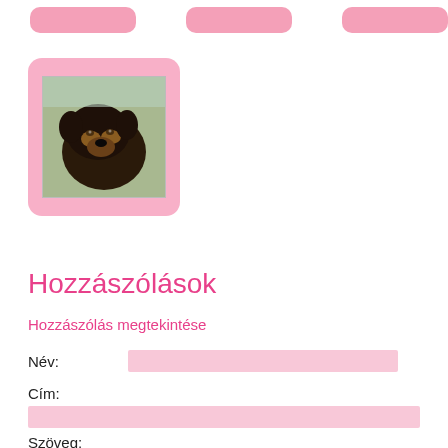[Figure (other): Three pink rounded rectangle placeholder boxes in a top row]
[Figure (photo): A pink rounded square thumbnail containing a photo of a dark-colored puppy (appears to be a Rottweiler) looking downward]
Hozzászólások
Hozzászólás megtekintése
Név:
Cím:
Szöveg: